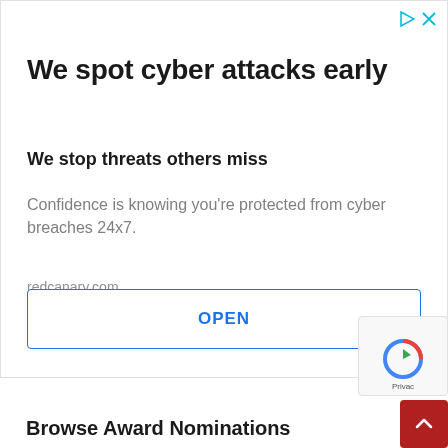[Figure (screenshot): Ad control icons: triangle play and X close in cyan color]
We spot cyber attacks early
We stop threats others miss
Confidence is knowing you’re protected from cyber breaches 24x7.
redcanary.com
OPEN
Browse Award Nominations